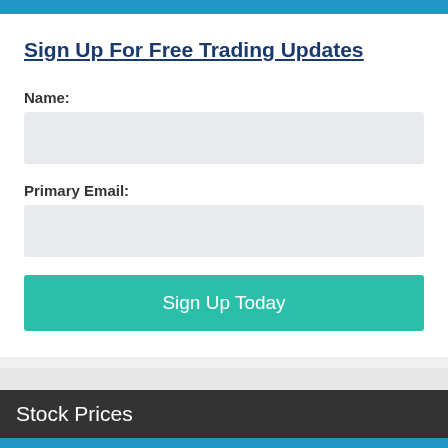Sign Up For Free Trading Updates
Name:
Primary Email:
Sign Up Today
Stock Prices